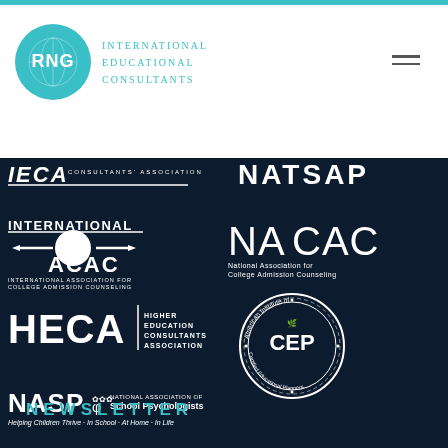[Figure (logo): RNG International Educational Consultants logo - teal circle with RNG text and company name beside it]
[Figure (logo): Partial IECA Consultants Association logo - white text on dark background]
[Figure (logo): Partial NATSAP logo - white text on dark background]
[Figure (logo): International ACAC - International Association for College Admission Counseling logo - white on dark]
[Figure (logo): NACAC - National Association for College Admission Counseling logo - white on dark]
[Figure (logo): HECA - Higher Education Consultants Association logo - white on dark]
[Figure (logo): American Institute of Certified Educational Planners (CEP) circular seal logo - white on dark]
[Figure (logo): NASP National Association of School Psychologists logo - Helping Children Thrive In School At Home In Life - white on dark]
NEWSLETTER